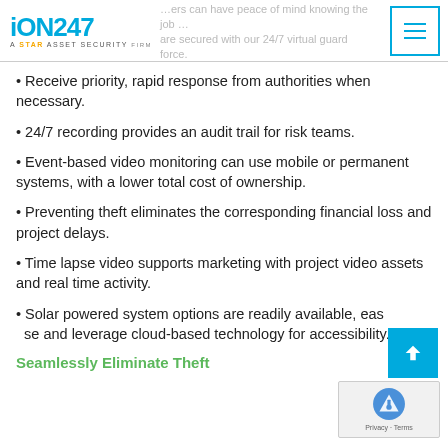iON247 – A Star Asset Security firm. Managers can have peace of mind knowing the job sites are secured with our 24/7 virtual guard force.
Receive priority, rapid response from authorities when necessary.
24/7 recording provides an audit trail for risk teams.
Event-based video monitoring can use mobile or permanent systems, with a lower total cost of ownership.
Preventing theft eliminates the corresponding financial loss and project delays.
Time lapse video supports marketing with project video assets and real time activity.
Solar powered system options are readily available, easy to use and leverage cloud-based technology for accessibility.
Seamlessly Eliminate Theft